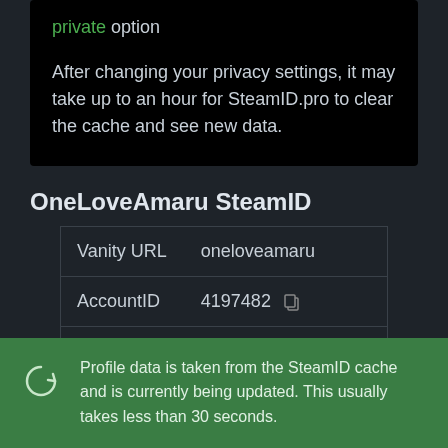private option

After changing your privacy settings, it may take up to an hour for SteamID.pro to clear the cache and see new data.
OneLoveAmaru SteamID
| Vanity URL | oneloveamaru |
| AccountID | 4197482 |
| SteamID | 76561197964463210 |
Profile data is taken from the SteamID cache and is currently being updated. This usually takes less than 30 seconds.